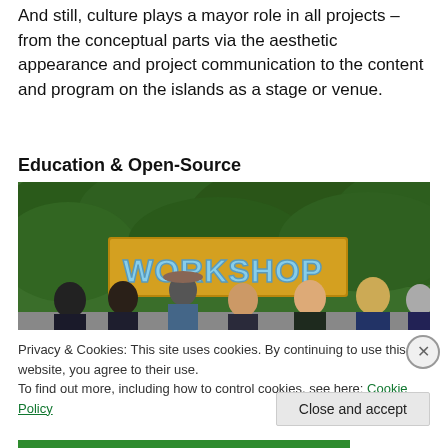And still, culture plays a mayor role in all projects – from the conceptual parts via the aesthetic appearance and project communication to the content and program on the islands as a stage or venue.
Education & Open-Source
[Figure (photo): Group of young people standing in front of a hedge with a colorful 'WORKSHOP' sign on a wooden board]
Privacy & Cookies: This site uses cookies. By continuing to use this website, you agree to their use.
To find out more, including how to control cookies, see here: Cookie Policy
Close and accept